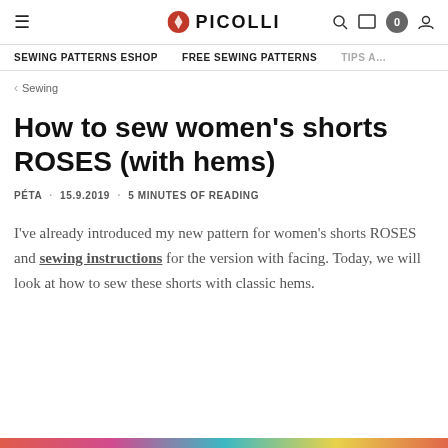PICOLLI
SEWING PATTERNS ESHOP   FREE SEWING PATTERNS   TIPS A…
< Sewing
How to sew women's shorts ROSES (with hems)
PÉTA · 15.9.2019 · 5 MINUTES OF READING
I've already introduced my new pattern for women's shorts ROSES and sewing instructions for the version with facing. Today, we will look at how to sew these shorts with classic hems.